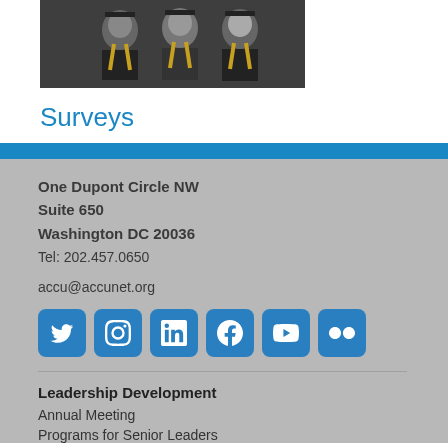[Figure (photo): Graduates in caps and gowns smiling at a graduation ceremony]
Surveys
One Dupont Circle NW
Suite 650
Washington DC 20036
Tel: 202.457.0650
accu@accunet.org
[Figure (infographic): Social media icons: Twitter, Instagram, LinkedIn, Facebook, YouTube, Flickr]
Leadership Development
Annual Meeting
Programs for Senior Leaders